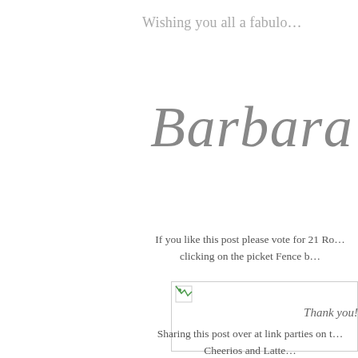Wishing you all a fabulo…
Barbara
If you like this post please vote for 21 Ro… clicking on the picket Fence b…
[Figure (photo): Broken image placeholder with small icon in top-left corner, inside a rectangular border]
Thank you!
Sharing this post over at link parties on t… Cheerios and Latte…